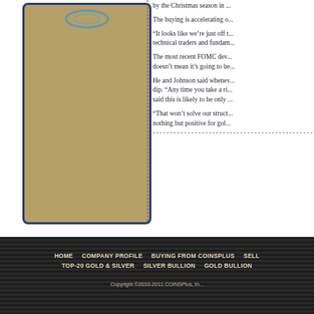[Figure (illustration): Gold/tan colored panel with blue swirl logo at top, representing a coin or bullion image area]
by the Christmas season in ...
The buying is accelerating o...
“It looks like we’re just off t... technical traders and fundam...
The most recent FOMC dev... doesn’t mean it’s going to be...
He and Johnson said whenev... dip. “Any time you take a ri... said this is likely to be only ...
“That won’t solve our struct... nothing but positive for gol...
HOME   COMPANY PROFILE   BUYING FROM COINSPlus   SELL   TOP-20 GOLD & SILVER   SILVER BULLION   GOLD BULLION   Copyright ©2010-2011 COINSPlus, In...